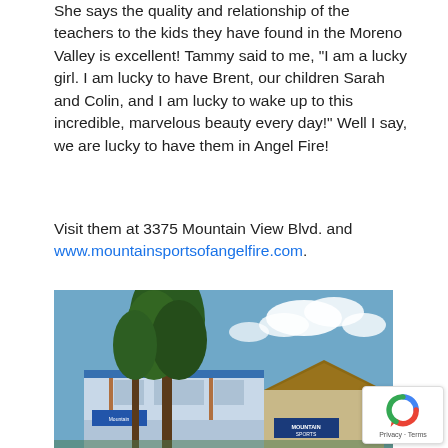She says the quality and relationship of the teachers to the kids they have found in the Moreno Valley is excellent! Tammy said to me, "I am a lucky girl. I am lucky to have Brent, our children Sarah and Colin, and I am lucky to wake up to this incredible, marvelous beauty every day!" Well I say, we are lucky to have them in Angel Fire!
Visit them at 3375 Mountain View Blvd. and www.mountainsportsofangelfire.com.
[Figure (photo): Exterior photo of Mountain Sports of Angel Fire store building with large pine trees in foreground and blue sky with clouds in background. Blue and white building with wooden accents and Mountain Sports signage visible.]